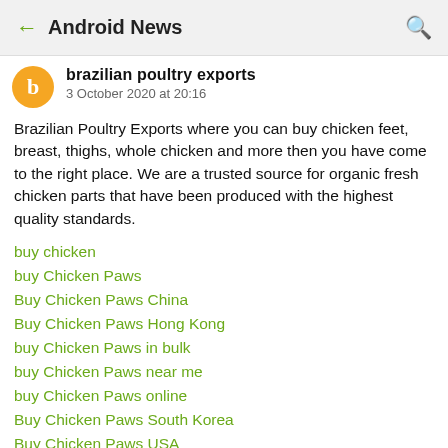Android News
brazilian poultry exports
3 October 2020 at 20:16
Brazilian Poultry Exports where you can buy chicken feet, breast, thighs, whole chicken and more then you have come to the right place. We are a trusted source for organic fresh chicken parts that have been produced with the highest quality standards.
buy chicken
buy Chicken Paws
Buy Chicken Paws China
Buy Chicken Paws Hong Kong
buy Chicken Paws in bulk
buy Chicken Paws near me
buy Chicken Paws online
Buy Chicken Paws South Korea
Buy Chicken Paws USA
Buy Chicken Paws wholesale
Buy Frozen Chicken Paws China
Buy Frozen Chicken Paws USA